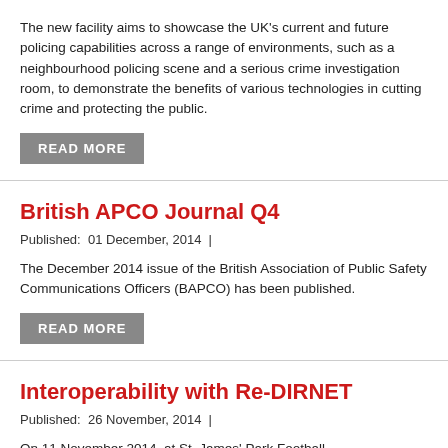The new facility aims to showcase the UK's current and future policing capabilities across a range of environments, such as a neighbourhood policing scene and a serious crime investigation room, to demonstrate the benefits of various technologies in cutting crime and protecting the public.
READ MORE
British APCO Journal Q4
Published:  01 December, 2014  |
The December 2014 issue of the British Association of Public Safety Communications Officers (BAPCO) has been published.
READ MORE
Interoperability with Re-DIRNET
Published:  26 November, 2014  |
On 11 November 2014, at St. James' Park Football Stadium, Newcastle, UK B-APCO's Shaun O'Neill assisted by Paul Kinsella hosted a workshop on Project Re-DIRNET, which aims to tackle